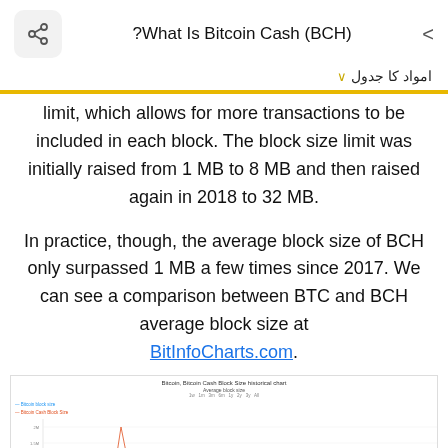What Is Bitcoin Cash (BCH)?
امواد کا جدول ▾
limit, which allows for more transactions to be included in each block. The block size limit was initially raised from 1 MB to 8 MB and then raised again in 2018 to 32 MB.
In practice, though, the average block size of BCH only surpassed 1 MB a few times since 2017. We can see a comparison between BTC and BCH average block size at BitInfoCharts.com.
[Figure (line-chart): A line chart comparing Bitcoin and Bitcoin Cash average block size over time, from BitInfoCharts.com. The chart shows BCH block size spiking at certain points while BTC remains relatively flat.]